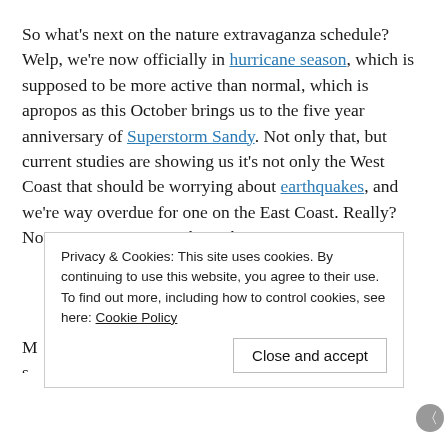So what's next on the nature extravaganza schedule? Welp, we're now officially in hurricane season, which is supposed to be more active than normal, which is apropos as this October brings us to the five year anniversary of Superstorm Sandy. Not only that, but current studies are showing us it's not only the West Coast that should be worrying about earthquakes, and we're way overdue for one on the East Coast. Really? Now I've got to worry about that?
M ... s ...
Privacy & Cookies: This site uses cookies. By continuing to use this website, you agree to their use.
To find out more, including how to control cookies, see here: Cookie Policy
Close and accept